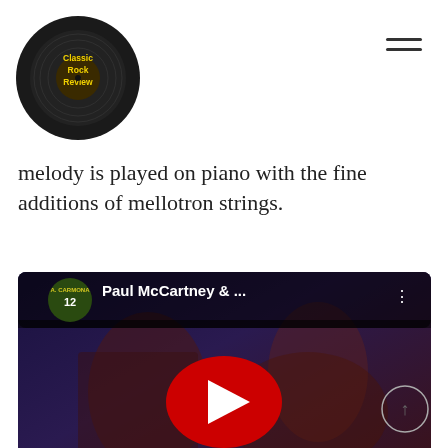[Figure (logo): Classic Rock Review logo — vinyl record with yellow text]
melody is played on piano with the fine additions of mellotron strings.
[Figure (screenshot): YouTube video thumbnail showing Paul McCartney & ... with a band performing on stage, red play button overlay, avatar in top left showing a sports jersey with number 12]
In a way, one can claim that “Maybe I’m Amazed” is the reason for the album as a whole, as the one true radio hit and indelible song. On the other hand, one might also argue that it this is too well produced to blend with the preceding